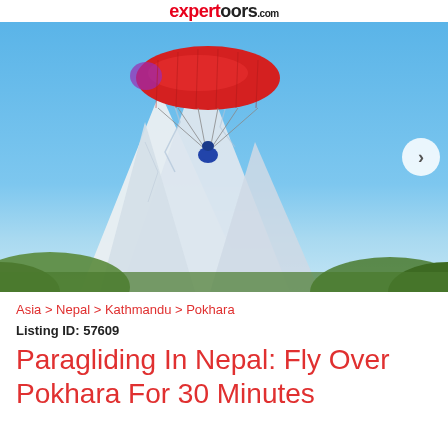expertoors.com
[Figure (photo): Paraglider with red canopy flying over snow-capped Himalayan mountains (Machapuchare/Fishtail) in Pokhara, Nepal under clear blue sky]
Asia > Nepal > Kathmandu > Pokhara
Listing ID: 57609
Paragliding In Nepal: Fly Over Pokhara For 30 Minutes